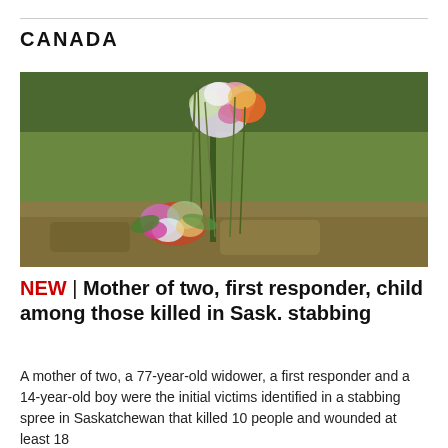CANADA
[Figure (photo): Flowers and bouquets placed on grass as a memorial tribute, with green grass and wild grass stalks in the background.]
NEW | Mother of two, first responder, child among those killed in Sask. stabbing
A mother of two, a 77-year-old widower, a first responder and a 14-year-old boy were the initial victims identified in a stabbing spree in Saskatchewan that killed 10 people and wounded at least 18